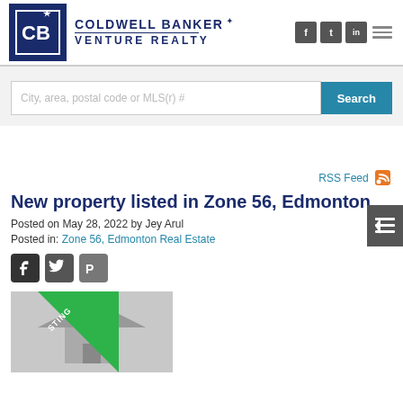[Figure (logo): Coldwell Banker Venture Realty logo with social media icons (Facebook, Twitter, LinkedIn) and hamburger menu]
City, area, postal code or MLS(r) #
Search
RSS Feed
New property listed in Zone 56, Edmonton
Posted on May 28, 2022 by Jey Arul
Posted in: Zone 56, Edmonton Real Estate
[Figure (screenshot): Social sharing icons: Twitter, Facebook, Pinterest]
[Figure (photo): Partial property listing photo with New Listing green triangle badge in corner]